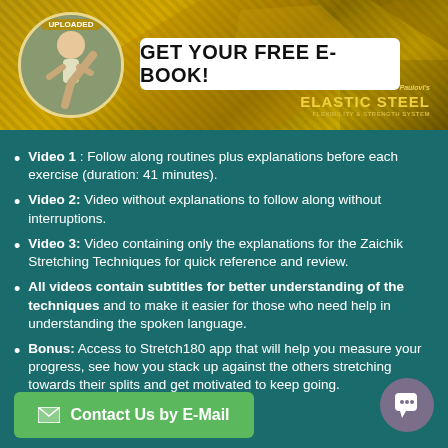[Figure (photo): Circular photo of a martial artist performing a kick, with gold geometric banner background and 'Elastic Steel' logo in top-right]
GET YOUR FREE E-BOOK!
Video 1 : Follow along routines plus explanations before each exercise (duration: 41 minutes).
Video 2: Video without explanations to follow along without interruptions.
Video 3: Video containing only the explanations for the Zaichik Stretching Techniques for quick reference and review.
All videos contain subtitles for better understanding of the techniques and to make it easier for those who need help in understanding the spoken language.
Bonus: Access to Stretch180 app that will help you measure your progress, see how you stack up against the others stretching towards their splits and get motivated to keep going.
Contact Us by E-Mail